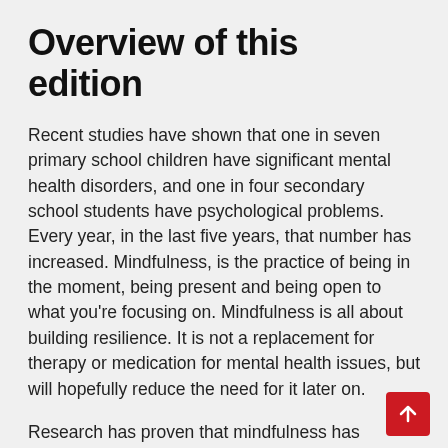Overview of this edition
Recent studies have shown that one in seven primary school children have significant mental health disorders, and one in four secondary school students have psychological problems. Every year, in the last five years, that number has increased. Mindfulness, is the practice of being in the moment, being present and being open to what you're focusing on. Mindfulness is all about building resilience. It is not a replacement for therapy or medication for mental health issues, but will hopefully reduce the need for it later on.
Research has proven that mindfulness has endless benefits for children. This school taught activity is on the rise, and many experts are wanting it to be a compulsory component of the national curriculum.